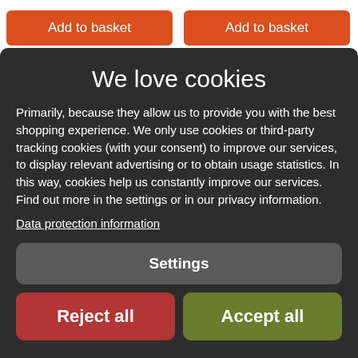[Figure (screenshot): Two orange 'Add to basket' buttons visible at top of page behind cookie overlay]
We love cookies
Primarily, because they allow us to provide you with the best shopping experience. We only use cookies or third-party tracking cookies (with your consent) to improve our services, to display relevant advertising or to obtain usage statistics. In this way, cookies help us constantly improve our services. Find out more in the settings or in our privacy information.
Data protection information
Settings
Reject all
Accept all